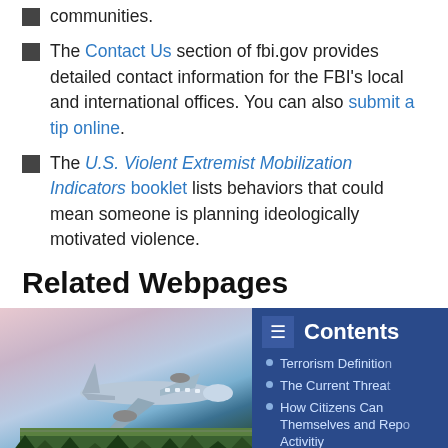communities.
The Contact Us section of fbi.gov provides detailed contact information for the FBI's local and international offices. You can also submit a tip online.
The U.S. Violent Extremist Mobilization Indicators booklet lists behaviors that could mean someone is planning ideologically motivated violence.
Related Webpages
[Figure (photo): Photo of a commercial airplane taking off or landing at an airport at sunset/dusk, with trees and runway visible in background.]
Terrorist Screening Center
[Figure (infographic): Contents box overlay on blue background listing: Terrorism Definition, The Current Threat, How Citizens Can Protect Themselves and Report Suspicious Activity, Related webpages. With hamburger menu icon at top left.]